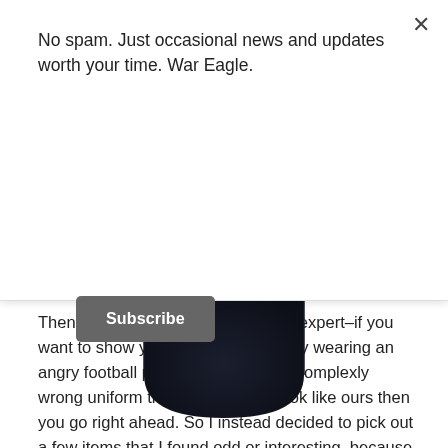No spam. Just occasional news and updates worth your time. War Eagle.
Subscribe
[Figure (photo): Bottom portion of a dark navy blue t-shirt showing the lower hem and body of the garment on a white background.]
Then I remembered: I'm no fashion expert–if you want to show your love for Auburn by wearing an angry football playing skeleton in a complexly wrong uniform that doesn't even look like ours then you go right ahead. So I instead decided to pick out a few items that I found odd or interesting, because, really, who else has time to look